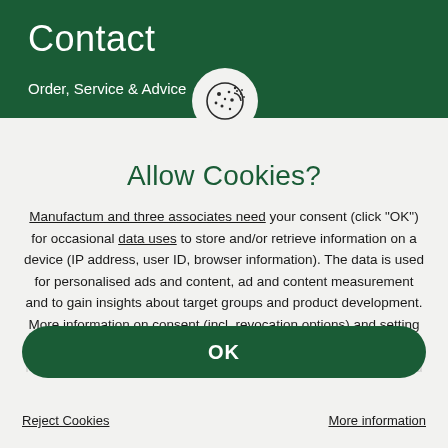Contact
Order, Service & Advice
Allow Cookies?
Manufactum and three associates need your consent (click "OK") for occasional data uses to store and/or retrieve information on a device (IP address, user ID, browser information). The data is used for personalised ads and content, ad and content measurement and to gain insights about target groups and product development. More information on consent (incl. revocation options) and setting options can be found at any time
OK
Reject Cookies
More information